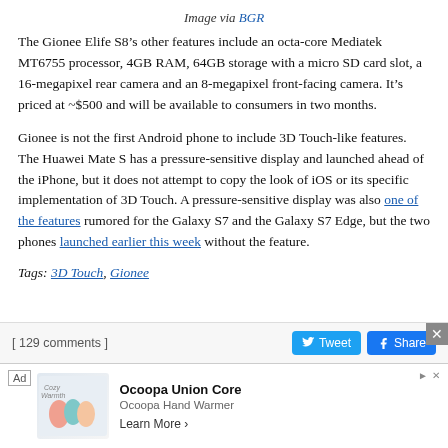Image via BGR
The Gionee Elife S8’s other features include an octa-core Mediatek MT6755 processor, 4GB RAM, 64GB storage with a micro SD card slot, a 16-megapixel rear camera and an 8-megapixel front-facing camera. It’s priced at ~$500 and will be available to consumers in two months.
Gionee is not the first Android phone to include 3D Touch-like features. The Huawei Mate S has a pressure-sensitive display and launched ahead of the iPhone, but it does not attempt to copy the look of iOS or its specific implementation of 3D Touch. A pressure-sensitive display was also one of the features rumored for the Galaxy S7 and the Galaxy S7 Edge, but the two phones launched earlier this week without the feature.
Tags: 3D Touch, Gionee
[ 129 comments ]
[Figure (other): Advertisement banner for Ocoopa Union Core hand warmer product]